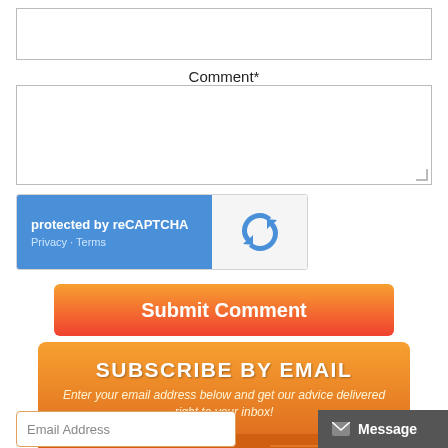[Figure (screenshot): A text input field (empty, with border) for entering a comment]
Comment*
[Figure (screenshot): A large textarea input field (empty, with border and resize handle) for entering a comment]
[Figure (other): reCAPTCHA widget with blue left panel showing 'protected by reCAPTCHA' and 'Privacy · Terms', and grey right panel with reCAPTCHA logo]
[Figure (other): Orange-to-red gradient Submit Comment button]
[Figure (other): Orange Subscribe By Email banner with pointed bottom and star, text: 'SUBSCRIBE BY EMAIL' and 'Enter your email address below and get our advice delivered right to your inbox!']
[Figure (screenshot): Email Address input field at bottom left, with a dark grey Message/Subscribe button at bottom right]